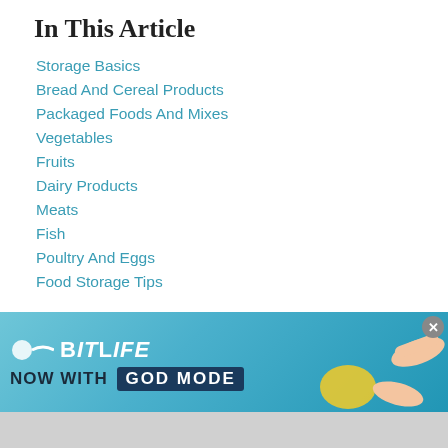In This Article
Storage Basics
Bread And Cereal Products
Packaged Foods And Mixes
Vegetables
Fruits
Dairy Products
Meats
Fish
Poultry And Eggs
Food Storage Tips
Storage Basics
The following guidelines are based on storage from the "date of purchase". If there is a "use by" date, cook or freeze the product by that date. If there is an "expiration date" (EXCEPT FOR EGGS which last several weeks longer) then abide by the date. Best by dates are only best quality guidelines and are NOT safety dates. Foods are usable
[Figure (screenshot): Advertisement banner for BitLife game - 'NOW WITH GOD MODE']